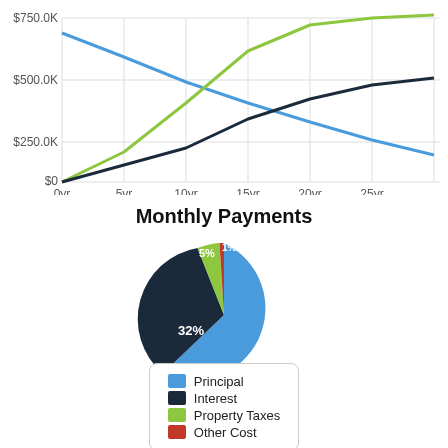[Figure (line-chart): Line chart showing mortgage balance, equity, and cumulative interest over time from 0yr to 25yr, with y-axis labels $0, $250.0K, $500.0K, $750.0K]
[Figure (pie-chart): Monthly Payments]
[Figure (other): Legend box showing Principal (blue), Interest (dark navy), Property Taxes (green), Other Cost (red)]